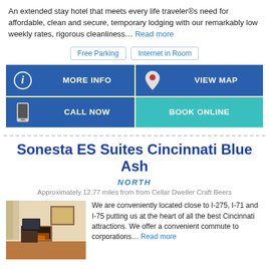An extended stay hotel that meets every life traveler®s need for affordable, clean and secure, temporary lodging with our remarkably low weekly rates, rigorous cleanliness... Read more
Free Parking
Internet in Room
[Figure (infographic): Four buttons: MORE INFO (blue, info icon), VIEW MAP (blue, map pin icon), CALL NOW (blue, phone icon), BOOK ONLINE (teal)]
Sonesta ES Suites Cincinnati Blue Ash
NORTH
Approximately 12.77 miles from from Cellar Dweller Craft Beers
[Figure (photo): Interior hotel room photo showing a fireplace, TV on dark wood stand, and curtains]
We are conveniently located close to I-275, I-71 and I-75 putting us at the heart of all the best Cincinnati attractions. We offer a convenient commute to corporations... Read more